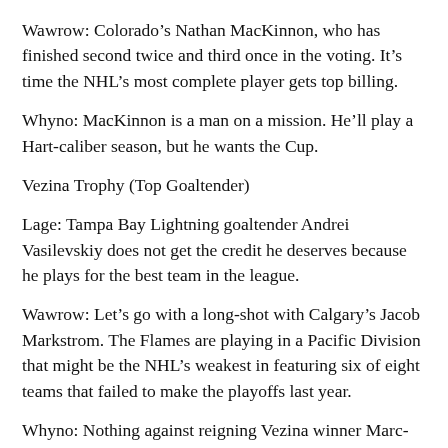Wawrow: Colorado's Nathan MacKinnon, who has finished second twice and third once in the voting. It's time the NHL's most complete player gets top billing.
Whyno: MacKinnon is a man on a mission. He'll play a Hart-caliber season, but he wants the Cup.
Vezina Trophy (Top Goaltender)
Lage: Tampa Bay Lightning goaltender Andrei Vasilevskiy does not get the credit he deserves because he plays for the best team in the league.
Wawrow: Let's go with a long-shot with Calgary's Jacob Markstrom. The Flames are playing in a Pacific Division that might be the NHL's weakest in featuring six of eight teams that failed to make the playoffs last year.
Whyno: Nothing against reigning Vezina winner Marc-Andre Fleury, but Vasilevskiy is the best goalie on the planet.